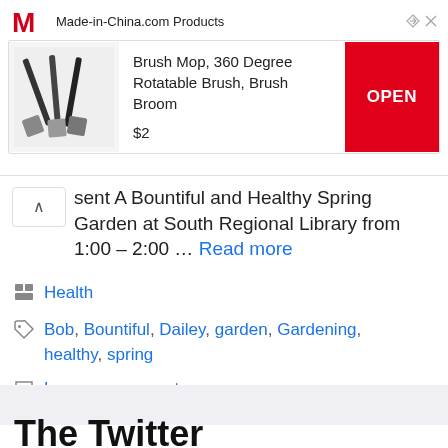[Figure (screenshot): Advertisement banner for Made-in-China.com showing a Brush Mop, 360 Degree Rotatable Brush, Brush Broom product priced at $2 with an OPEN button]
sent A Bountiful and Healthy Spring Garden at South Regional Library from 1:00 – 2:00 … Read more
Health
Bob, Bountiful, Dailey, garden, Gardening, healthy, spring
Leave a comment
The Twitter